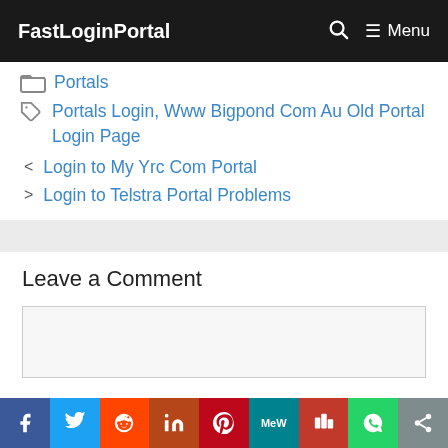FastLoginPortal | Menu
Portals
Portals Login, Www Bigpond Com Au Old Portal Login Page
< Login to My Yrc Com Portal
> Login to Telstra Portal Problems
Leave a Comment
[Figure (screenshot): Comment text input box (empty)]
Social share bar: Facebook, Twitter, Reddit, LinkedIn, Pinterest, MeWe, Mix, WhatsApp, Share